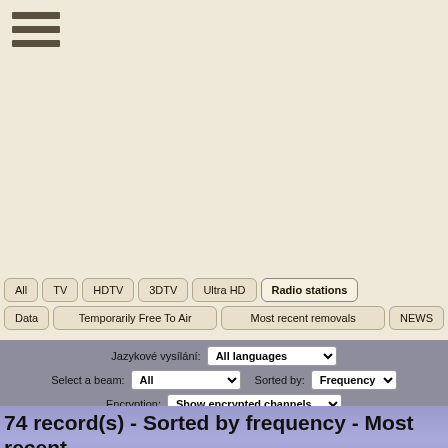[Figure (screenshot): Navigation menu hamburger icon with three horizontal lines]
All
TV
HDTV
3DTV
Ultra HD
Radio stations
Data
Temporarily Free To Air
Most recent removals
NEWS
Jazykové vysílání: All languages
Select a beam: All    Sorted by: Frequency
Encryption: Show encrypted channels
74 record(s) - Sorted by frequency - Most recent updates: 2022-08-15 16:12 CET
Collapse all frequencies
| Pos | Satellite | Frequency | Pol | Standard | Modulation | SR/FEC |  |
| --- | --- | --- | --- | --- | --- | --- | --- |